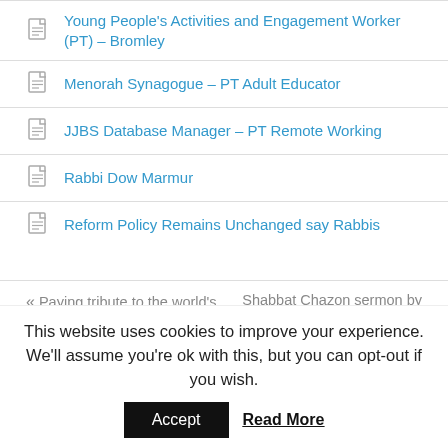Young People's Activities and Engagement Worker (PT) – Bromley
Menorah Synagogue – PT Adult Educator
JJBS Database Manager – PT Remote Working
Rabbi Dow Marmur
Reform Policy Remains Unchanged say Rabbis
« Paying tribute to the world's first female rabbi    Shabbat Chazon sermon by Rabbi Helen Freeman »
This website uses cookies to improve your experience. We'll assume you're ok with this, but you can opt-out if you wish.